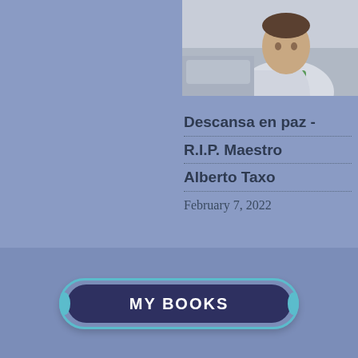[Figure (photo): Partial photo of a person wearing a light jacket and green shirt, cropped to show upper body and partial face, positioned in the top-right corner of the page.]
Descansa en paz - R.I.P. Maestro Alberto Taxo
February 7, 2022
[Figure (other): Decorative button element with teal/cyan outer border and dark navy inner background, labeled MY BOOKS in white bold letters.]